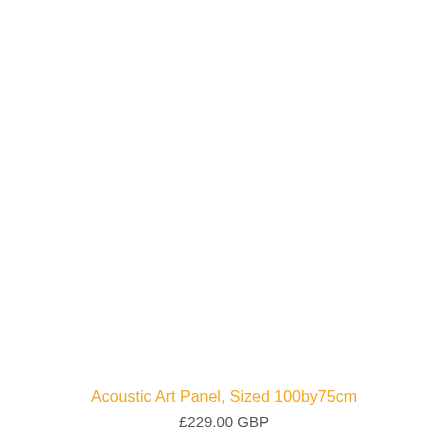[Figure (photo): White/blank product image area for an acoustic art panel]
Acoustic Art Panel, Sized 100by75cm
£229.00 GBP